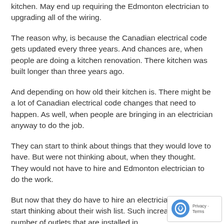kitchen. May end up requiring the Edmonton electrician to upgrading all of the wiring.
The reason why, is because the Canadian electrical code gets updated every three years. And chances are, when people are doing a kitchen renovation. There kitchen was built longer than three years ago.
And depending on how old their kitchen is. There might be a lot of Canadian electrical code changes that need to happen. As well, when people are bringing in an electrician anyway to do the job.
They can start to think about things that they would love to have. But were not thinking about, when they thought. They would not have to hire and Edmonton electrician to do the work.
But now that they do have to hire an electrician. They can start thinking about their wish list. Such increasing the number of outlets that are installed in